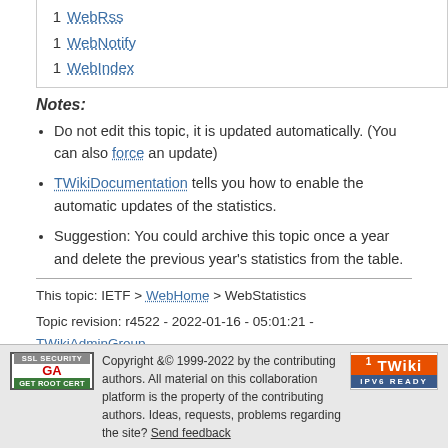| 1 | WebRss |
| 1 | WebNotify |
| 1 | WebIndex |
Notes:
Do not edit this topic, it is updated automatically. (You can also force an update)
TWikiDocumentation tells you how to enable the automatic updates of the statistics.
Suggestion: You could archive this topic once a year and delete the previous year's statistics from the table.
This topic: IETF > WebHome > WebStatistics
Topic revision: r4522 - 2022-01-16 - 05:01:21 - TWikiAdminGroup
Copyright &© 1999-2022 by the contributing authors. All material on this collaboration platform is the property of the contributing authors. Ideas, requests, problems regarding the site? Send feedback